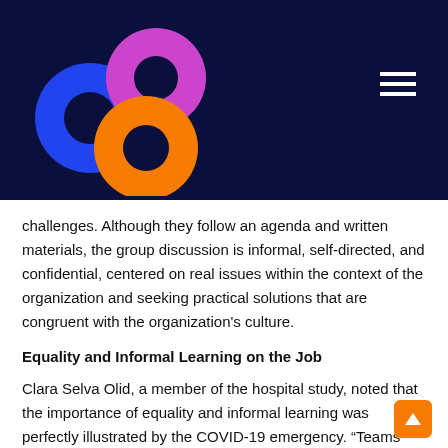[Figure (logo): Three overlapping circles logo: blue circle (left), magenta/pink circle (upper right), orange circle (lower center), each with a dark inner circle, on dark navy background]
[Figure (other): Hamburger menu icon (three horizontal white lines) on dark navy background]
challenges. Although they follow an agenda and written materials, the group discussion is informal, self-directed, and confidential, centered on real issues within the context of the organization and seeking practical solutions that are congruent with the organization's culture.
Equality and Informal Learning on the Job
Clara Selva Olid, a member of the hospital study, noted that the importance of equality and informal learning was perfectly illustrated by the COVID-19 emergency. “Teams